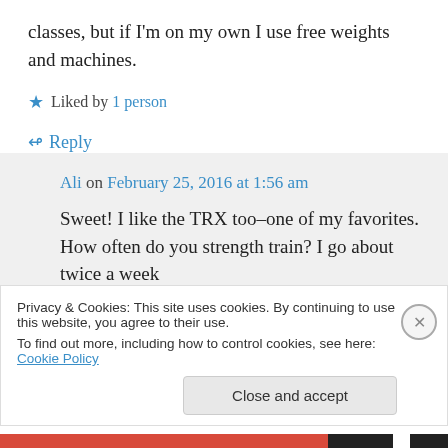classes, but if I'm on my own I use free weights and machines.
★ Liked by 1 person
↪ Reply
Ali on February 25, 2016 at 1:56 am
Sweet! I like the TRX too–one of my favorites. How often do you strength train? I go about twice a week
Privacy & Cookies: This site uses cookies. By continuing to use this website, you agree to their use.
To find out more, including how to control cookies, see here: Cookie Policy
Close and accept